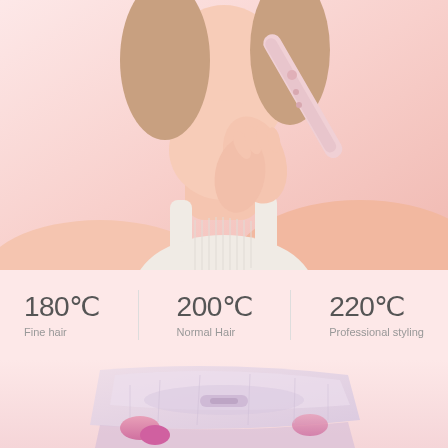[Figure (photo): Woman holding a pink hair styling tool (hair straightener/curler) against her face/neck area. She is wearing a white ribbed tank top. The background is a light pink/peach tone.]
180℃
Fine hair
200℃
Normal Hair
220℃
Professional styling
[Figure (photo): Close-up of a pink/lavender hair styling iron or straightener tool resting on its stand, shown from above/side angle against a pink background.]